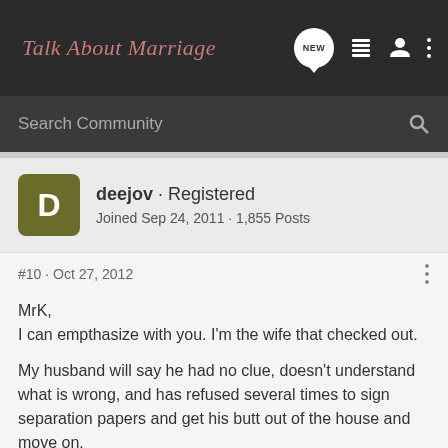Talk About Marriage
Search Community
deejov · Registered
Joined Sep 24, 2011 · 1,855 Posts
#10 · Oct 27, 2012
MrK,
I can empthasize with you. I'm the wife that checked out.

My husband will say he had no clue, doesn't understand what is wrong, and has refused several times to sign separation papers and get his butt out of the house and move on.

I DID tell him several times. I got answers like.... "don't try and change me" and "why do you have to be so negative" and "why